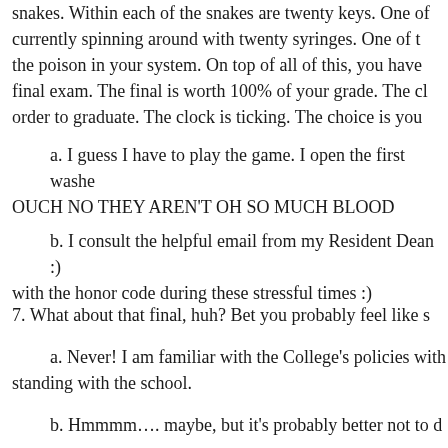snakes. Within each of the snakes are twenty keys. One of currently spinning around with twenty syringes. One of t the poison in your system. On top of all of this, you have final exam. The final is worth 100% of your grade. The cl order to graduate. The clock is ticking. The choice is you
a. I guess I have to play the game. I open the first washe OUCH NO THEY AREN'T OH SO MUCH BLOOD
b. I consult the helpful email from my Resident Dean :) with the honor code during these stressful times :)
7. What about that final, huh? Bet you probably feel like s
a. Never! I am familiar with the College's policies with standing with the school.
b. Hmmmm…. maybe, but it's probably better not to d